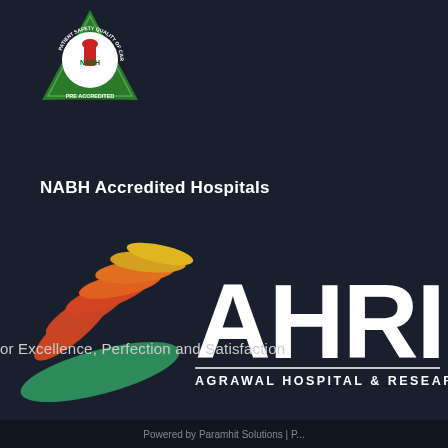[Figure (logo): NABH Pre-Accredited badge - green triangular shield logo with 'PATIENT SAFETY QUALITY OF CARE' and 'NABH' text, 'PRE ACCREDITED' at bottom]
NABH Accredited Hospitals
[Figure (logo): AHRI logo - colorful leaf/flower design in orange, red, yellow and green on the left, large white 'AHRI' text on right with 'AGRAWAL HOSPITAL & RESEARCH INSTITUTE' subtitle below a horizontal line]
or Excellence, Perfection and Satisfaction
Powered by Paramhit Solutions | P...